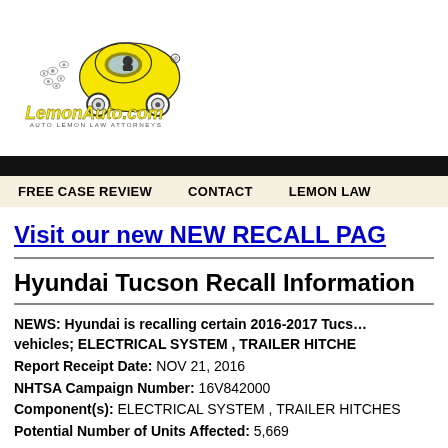[Figure (logo): LemonAuto.com logo with yellow cartoon car and eyes, text AUTO LEMON LAW ATTORNEYS]
FREE CASE REVIEW   CONTACT   LEMON LAW
Visit our new NEW RECALL PAGE
Hyundai Tucson Recall Information
NEWS: Hyundai is recalling certain 2016-2017 Tucson vehicles; ELECTRICAL SYSTEM , TRAILER HITCHES
Report Receipt Date: NOV 21, 2016
NHTSA Campaign Number: 16V842000
Component(s): ELECTRICAL SYSTEM , TRAILER HITCHES
Potential Number of Units Affected: 5,669